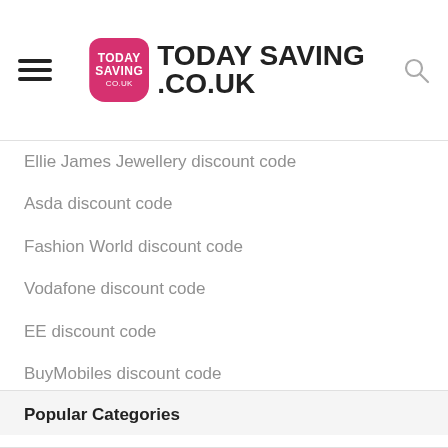TODAY SAVING .CO.UK
Ellie James Jewellery discount code
Asda discount code
Fashion World discount code
Vodafone discount code
EE discount code
BuyMobiles discount code
Travelzoo discount code
Birmingham Airport Parking discount code
Looking4Parking discount code
Thrifty Car Rental discount code
Popular Categories